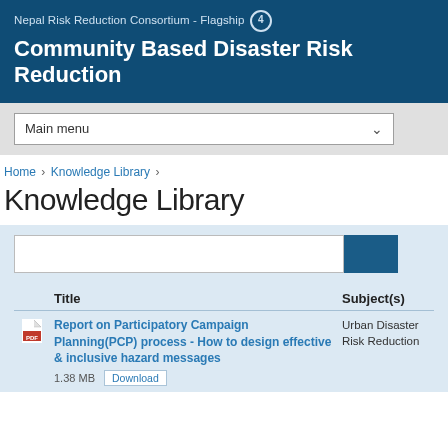Nepal Risk Reduction Consortium - Flagship 4
Community Based Disaster Risk Reduction
Main menu
Home › Knowledge Library ›
Knowledge Library
|  | Title | Subject(s) |
| --- | --- | --- |
| [icon] | Report on Participatory Campaign Planning(PCP) process - How to design effective & inclusive hazard messages
1.38 MB  Download | Urban Disaster Risk Reduction |